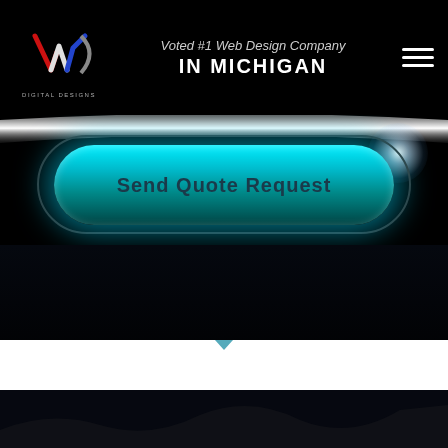[Figure (logo): Digital Designs logo with stylized W/D icon in red, white, blue colors on black background]
Voted #1 Web Design Company
IN MICHIGAN
[Figure (screenshot): Teal glowing pill-shaped Send Quote Request button on dark background with silver curved band and lens flare]
Send Quote Request